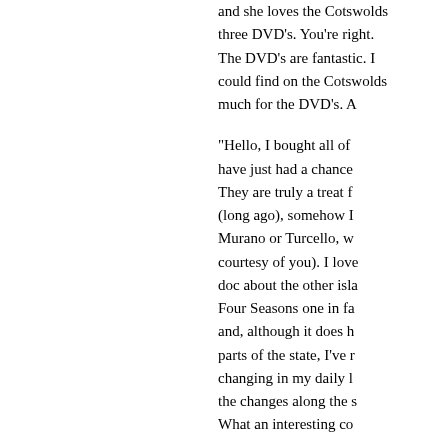and she loves the Cotswolds three DVD's. You're right. The DVD's are fantastic. I could find on the Cotswolds much for the DVD's. A
"Hello, I bought all of have just had a chance They are truly a treat f (long ago), somehow I Murano or Turcello, w courtesy of you). I love doc about the other isla Four Seasons one in fa and, although it does h parts of the state, I've r changing in my daily l the changes along the s What an interesting co